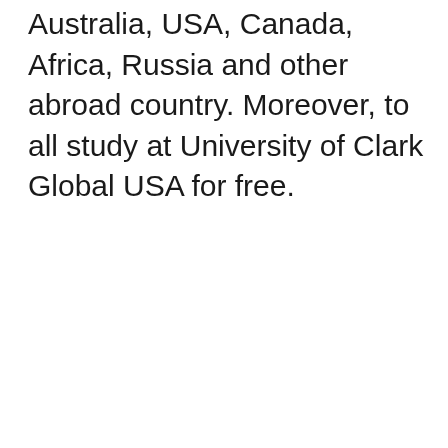Australia, USA, Canada, Africa, Russia and other abroad country. Moreover, to all study at University of Clark Global USA for free.